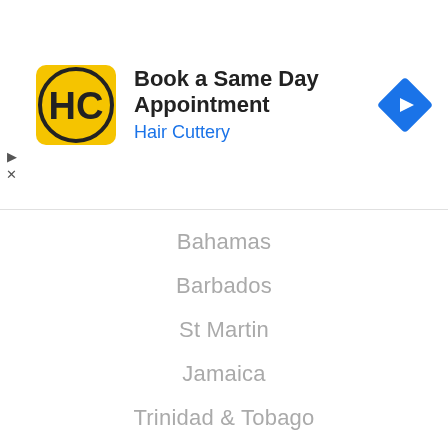[Figure (screenshot): Hair Cuttery advertisement banner with yellow HC logo, 'Book a Same Day Appointment' title, 'Hair Cuttery' subtitle in blue, and a blue navigation arrow icon on the right.]
Bahamas
Barbados
St Martin
Jamaica
Trinidad & Tobago
Dominican Republic
South America
Argentina
Columbia